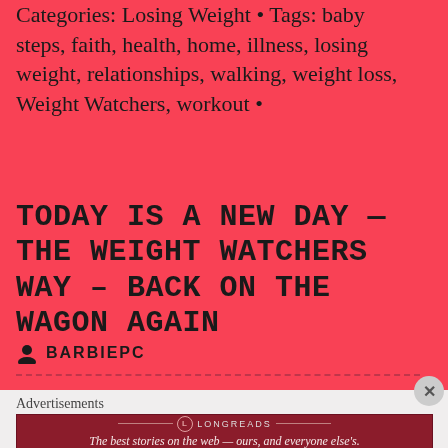Categories: Losing Weight • Tags: baby steps, faith, health, home, illness, losing weight, relationships, walking, weight loss, Weight Watchers, workout •
TODAY IS A NEW DAY — THE WEIGHT WATCHERS WAY – BACK ON THE WAGON AGAIN
BARBIEPC
Advertisements
[Figure (other): Longreads advertisement banner: The best stories on the web — ours, and everyone else's.]